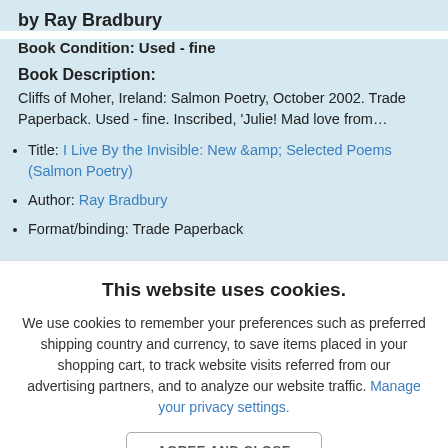by Ray Bradbury
Book Condition: Used - fine
Book Description:
Cliffs of Moher, Ireland: Salmon Poetry, October 2002. Trade Paperback. Used - fine. Inscribed, 'Julie! Mad love from...
Title: I Live By the Invisible: New &amp; Selected Poems (Salmon Poetry)
Author: Ray Bradbury
Format/binding: Trade Paperback
This website uses cookies.
We use cookies to remember your preferences such as preferred shipping country and currency, to save items placed in your shopping cart, to track website visits referred from our advertising partners, and to analyze our website traffic. Manage your privacy settings.
AGREE AND CLOSE